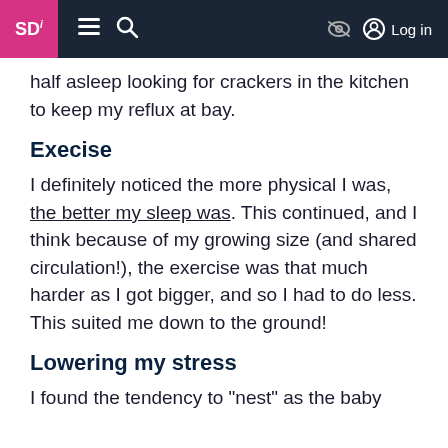SDi [hamburger] [search] [no-eye icon] Log in
half asleep looking for crackers in the kitchen to keep my reflux at bay.
Execise
I definitely noticed the more physical I was, the better my sleep was. This continued, and I think because of my growing size (and shared circulation!), the exercise was that much harder as I got bigger, and so I had to do less. This suited me down to the ground!
Lowering my stress
I found the tendency to "nest" as the baby